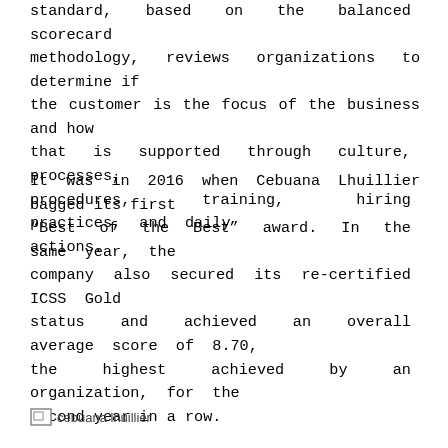standard, based on the balanced scorecard methodology, reviews organizations to determine if the customer is the focus of the business and how that is supported through culture, processes, procedures, training, hiring practices, and daily actions.
It was in 2016 when Cebuana Lhuillier bagged its first “Best of the Best” award. In the same year, the company also secured its re-certified ICSS Gold status and achieved an overall average score of 8.70, the highest achieved by an organization, for the second year in a row.
[Figure (photo): Broken image placeholder labeled 'cebuana lhuillier']